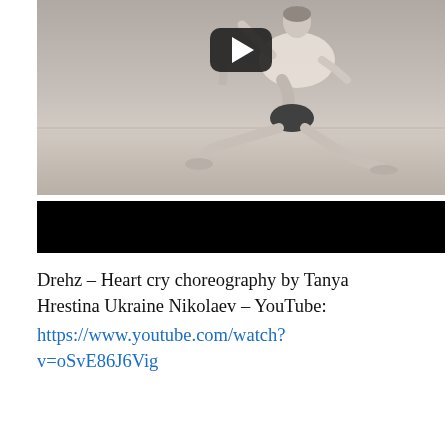[Figure (screenshot): Black and white YouTube video thumbnail showing a dancer in a deep lunge pose in a dance studio, with a play button overlay in the center top area.]
[Figure (screenshot): Black rectangle bar, likely a video player progress bar or redacted area.]
Drehz – Heart cry choreography by Tanya Hrestina Ukraine Nikolaev – YouTube: https://www.youtube.com/watch?v=oSvE86J6Vig